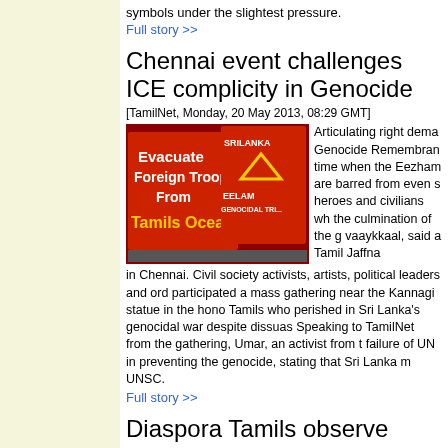symbols under the slightest pressure.
Full story >>
Chennai event challenges ICE complicity in Genocide
[TamilNet, Monday, 20 May 2013, 08:29 GMT]
[Figure (photo): Protest signs reading 'Evacuate Foreign Troops From Tamils Ocean' and 'Sri Lanka Eelam Genocidal Tri...' with Tamil Eelam symbol]
Articulating right demands at the Genocide Remembrance time when the Eezham Tamils are barred from even showing heroes and civilians who fell at the culmination of the genocidal vaaykkaal, said a Tamil activist in Jaffna commenting on the protestors at the May 18 event in Chennai. Civil society activists, artists, political leaders and ordinary people participated a mass gathering near the Kannagi statue in the honour of Tamils who perished in Sri Lanka's genocidal war despite dissuasions. Speaking to TamilNet from the gathering, Umar, an activist from the event on failure of UN in preventing the genocide, stating that Sri Lanka must be brought to UNSC.
Full story >>
Diaspora Tamils observe Mu'l'li-vaaykkaal remembrance events
[TamilNet, Sunday, 19 May 2013, 17:16 GMT]
[Figure (photo): Crowd of diaspora Tamils at remembrance event, people in dark clothing, some holding candles]
Events remembering the genocide in May 2009 drew countries in the West b Saturday. While over 1 in a mass rally in Londo event in Sydney had ar of 'forum theatre' to enc frame their political disc